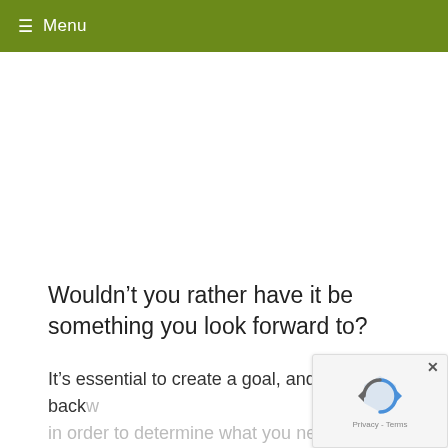≡ Menu
Wouldn't you rather have it be something you look forward to?
It's essential to create a goal, and work backw... in order to determine what you need to save ... in order to be smooth sailing in retirement. Play